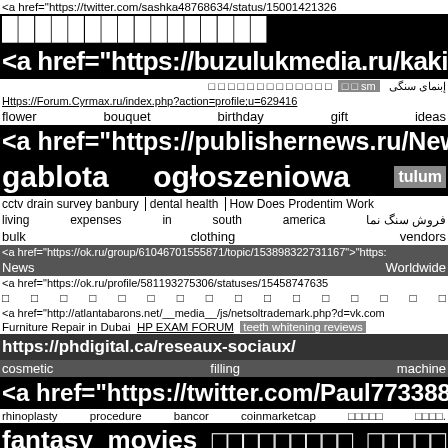<a href="https://twitter.com/sashka48768634/status/15001421326
████████████████
<a href="https://buzulukmedia.ru/kakie-
إبنمای سنگی   sm □ □   □ □ □ □ □ □ □ □ □ □ □ □ □
Https://Forum.Cyrmax.ru/index.php?action=profile;u=629416
flower   bouquet   birthday   gift   ideas
<a href="https://publishernews.ru/News
gablota   ogłoszeniowa   tulum
cctv drain survey banbury  dental health  How Does Prodentim Work
living   expenses   in   south   america   فروش سنگ نما
bulk                    clothing                    vendors
<a href="https://ok.ru/group/61046701555871/topic/153898322731167">"https:
News                                               Worldwide
<a href="https://ok.ru/profile/581193275306/statuses/154587476355
□ □ □ □ □ □ □ □ □ □ □ □ □ □ □ □
<a href="http://atlantabarons.net/__media__/js/netsoltrademark.php?d=vk.com
Furniture Repair in Dubai  HP EXAM FORUM  teeth whitening reviews
https://phdigital.ca/reseaux-sociaux/
cosmetic              filling              machine
<a href="https://twitter.com/Paul77338899/status/15
rhinoplasty   procedure   bancor   coinmarketcap   □□□□□   □□□□.
fantasy   movies   □□□□□□□□□   □□□□□
quartz   counters   near   me
<a href="https://ok.ru/profile/578430550194/statuses/154909221